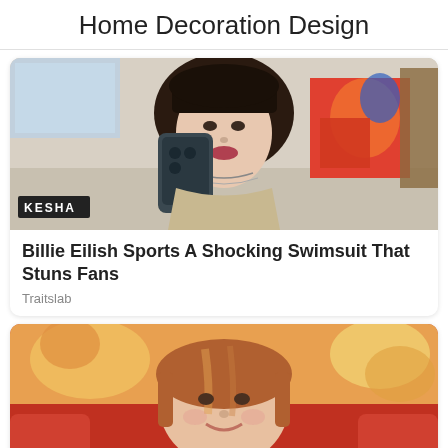Home Decoration Design
[Figure (photo): Person with dark hair taking a mirror selfie with a smartphone, wearing layered necklaces. A sign reading 'KESHA' is visible in the lower left.]
Billie Eilish Sports A Shocking Swimsuit That Stuns Fans
Traitslab
[Figure (photo): Young woman with reddish-brown hair sitting on a red couch, wearing a light blue shirt, with colorful artwork visible in the background.]